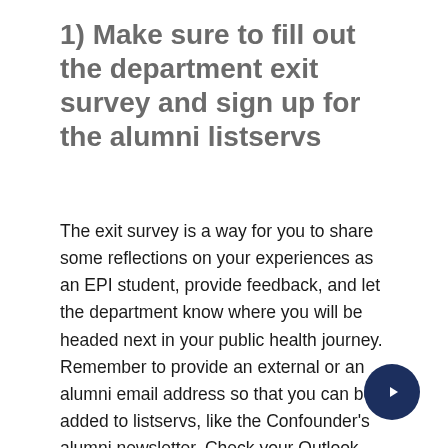1) Make sure to fill out the department exit survey and sign up for the alumni listservs
The exit survey is a way for you to share some reflections on your experiences as an EPI student, provide feedback, and let the department know where you will be headed next in your public health journey. Remember to provide an external or an alumni email address so that you can be added to listservs, like the Confounder's alumni newsletter. Check your Outlook inbox for the exit survey if you have not filled it out yet.